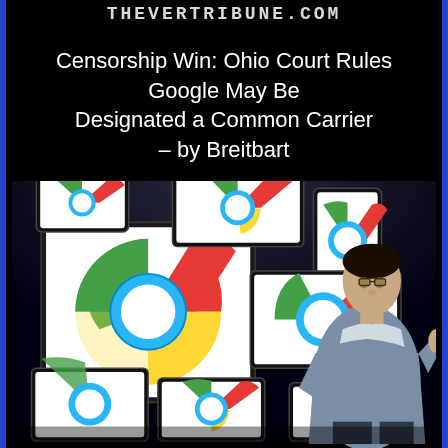THEVERTRIBUNE.COM
Censorship Win: Ohio Court Rules Google May Be Designated a Common Carrier – by Breitbart
[Figure (photo): A man in a blue-grey sweater presenting in front of large screens displaying the Google Chrome logo and various Google device screens on a dark stage background.]